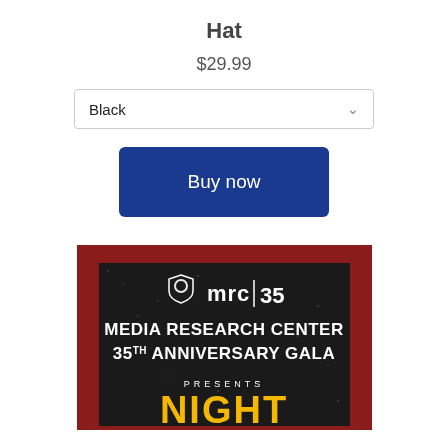Hat
$29.99
Black
Buy now
[Figure (photo): MRC Media Research Center 35th Anniversary Gala promotional hat image with red border and dark textured background showing mrc|35 logo and text 'MEDIA RESEARCH CENTER 35TH ANNIVERSARY GALA PRESENTS' with partial gold text at bottom]